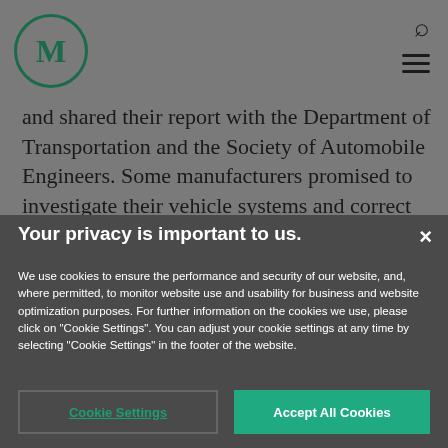[Figure (logo): Circle logo with letter M in dark green]
and shared their report with the Department of Transportation and the Society of Automobile Engineers. Some manufacturers promised to investigate their vehicle systems and correct the
Your privacy is important to us.
We use cookies to ensure the performance and security of our website, and, where permitted, to monitor website use and usability for business and website optimization purposes. For further information on the cookies we use, please click on "Cookie Settings". You can adjust your cookie settings at any time by selecting "Cookie Settings" in the footer of the website.
Cookie Settings
Accept All Cookies